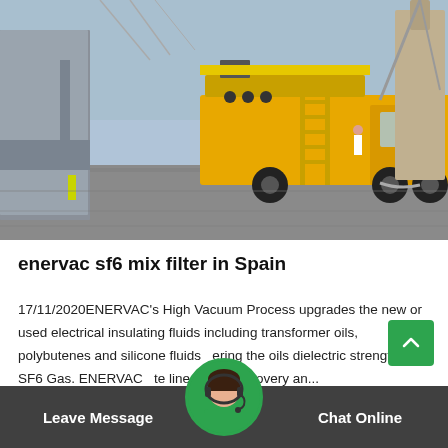[Figure (photo): A yellow truck with vacuum/filtration equipment parked at an electrical substation with large transformers and industrial equipment in the background.]
enervac sf6 mix filter in Spain
17/11/2020ENERVAC's High Vacuum Process upgrades the new or used electrical insulating fluids including transformer oils, polybutenes and silicone fluids covering the oils dielectric strength. SF6 Gas. ENERVAC complete line of SF6 recovery an...